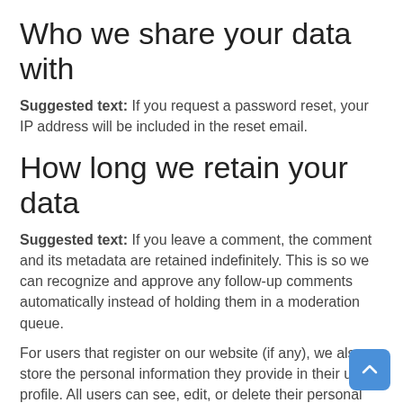Who we share your data with
Suggested text: If you request a password reset, your IP address will be included in the reset email.
How long we retain your data
Suggested text: If you leave a comment, the comment and its metadata are retained indefinitely. This is so we can recognize and approve any follow-up comments automatically instead of holding them in a moderation queue.
For users that register on our website (if any), we also store the personal information they provide in their user profile. All users can see, edit, or delete their personal information at any time (except they cannot change their username). Website administrators can also see and edit that information.